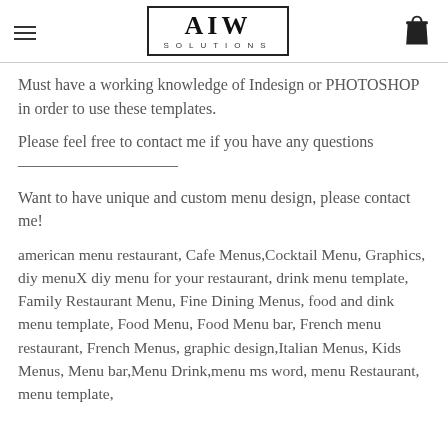AIW SOLUTIONS
Must have a working knowledge of Indesign or PHOTOSHOP in order to use these templates.
Please feel free to contact me if you have any questions
——————————
Want to have unique and custom menu design, please contact me!
american menu restaurant, Cafe Menus,Cocktail Menu, Graphics, diy menuX diy menu for your restaurant, drink menu template, Family Restaurant Menu, Fine Dining Menus, food and dink menu template, Food Menu, Food Menu bar, French menu restaurant, French Menus, graphic design,Italian Menus, Kids Menus, Menu bar,Menu Drink,menu ms word, menu Restaurant, menu template,